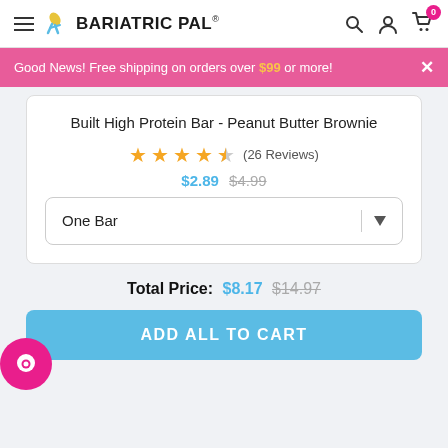BariatricPal
Good News! Free shipping on orders over $99 or more!
Built High Protein Bar - Peanut Butter Brownie
(26 Reviews)
$2.89 $4.99
One Bar
Total Price: $8.17 $14.97
ADD ALL TO CART